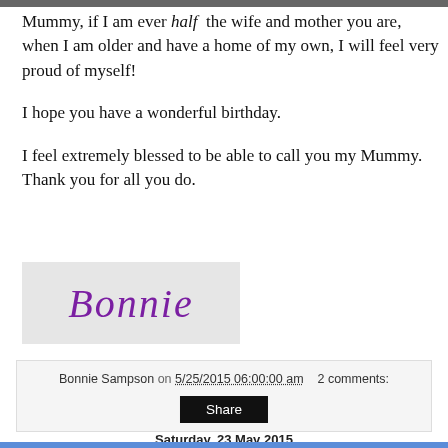[Figure (photo): Partial photo visible at top of page]
Mummy, if I am ever half the wife and mother you are, when I am older and have a home of my own, I will feel very proud of myself!
I hope you have a wonderful birthday.
I feel extremely blessed to be able to call you my Mummy. Thank you for all you do.
[Figure (illustration): Signature image showing 'Bonnie' in purple cursive script on light grey background]
Bonnie Sampson on 5/25/2015 06:00:00 am    2 comments:
Share
Saturday, 23 May 2015